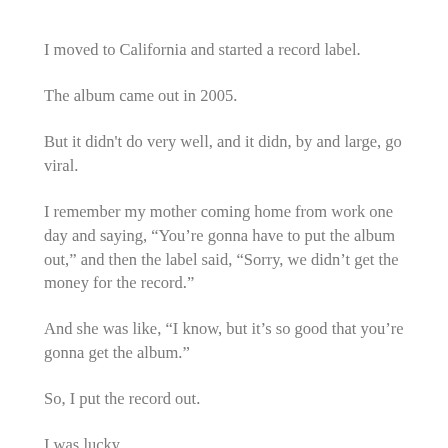I moved to California and started a record label.
The album came out in 2005.
But it didn't do very well, and it didn, by and large, go viral.
I remember my mother coming home from work one day and saying, “You’re gonna have to put the album out,” and then the label said, “Sorry, we didn’t get the money for the record.”
And she was like, “I know, but it’s so good that you’re gonna get the album.”
So, I put the record out.
I was lucky.
It was not a great album, but I got to see my son grow up and have his first birthday with his mom and his sister.